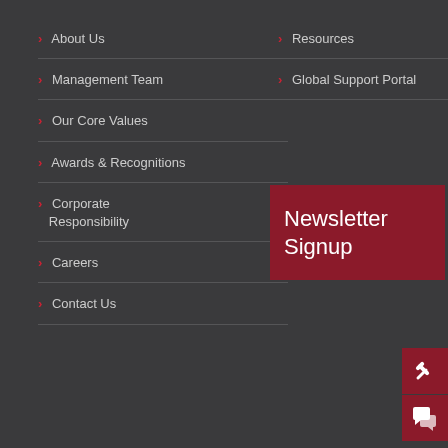> About Us
> Management Team
> Our Core Values
> Awards & Recognitions
> Corporate Responsibility
> Careers
> Contact Us
> Resources
> Global Support Portal
Newsletter Signup
[Figure (illustration): Wrench icon on dark red background button]
[Figure (illustration): Chat bubbles icon on dark red background button]